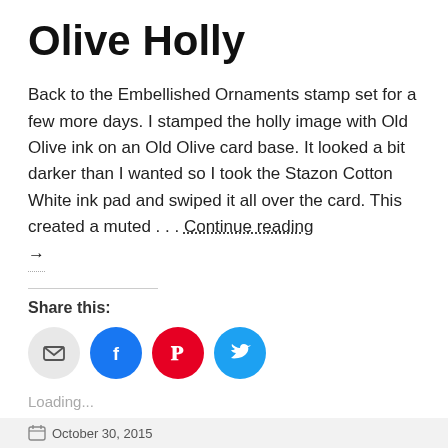Olive Holly
Back to the Embellished Ornaments stamp set for a few more days. I stamped the holly image with Old Olive ink on an Old Olive card base. It looked a bit darker than I wanted so I took the Stazon Cotton White ink pad and swiped it all over the card. This created a muted … Continue reading →
Share this:
[Figure (infographic): Four social share icon circles: email (grey), Facebook (blue), Pinterest (red), Twitter (cyan)]
Loading...
October 30, 2015